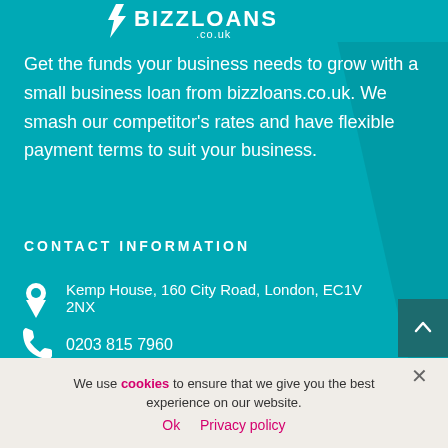[Figure (logo): Bizzloans .co.uk logo with lightning bolt, white text on teal background]
Get the funds your business needs to grow with a small business loan from bizzloans.co.uk. We smash our competitor's rates and have flexible payment terms to suit your business.
CONTACT INFORMATION
Kemp House, 160 City Road, London, EC1V 2NX
0203 815 7960
We use cookies to ensure that we give you the best experience on our website.
Ok  Privacy policy